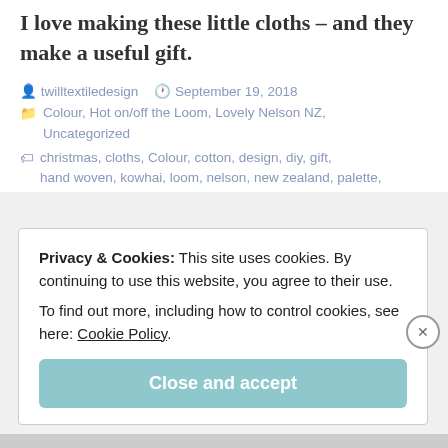I love making these little cloths – and they make a useful gift.
twilltextiledesign  September 19, 2018
Colour, Hot on/off the Loom, Lovely Nelson NZ, Uncategorized
christmas, cloths, Colour, cotton, design, diy, gift, hand woven, kowhai, loom, nelson, new zealand, palette,
Privacy & Cookies: This site uses cookies. By continuing to use this website, you agree to their use.
To find out more, including how to control cookies, see here: Cookie Policy
Close and accept